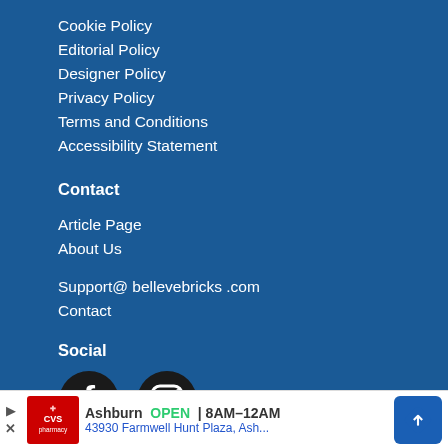Cookie Policy
Editorial Policy
Designer Policy
Privacy Policy
Terms and Conditions
Accessibility Statement
Contact
Article Page
About Us
Support@ bellevebricks .com
Contact
Social
[Figure (other): Facebook and Instagram social media icons (dark circles with white logos)]
[Figure (other): CVS Pharmacy advertisement banner showing Ashburn location open 8AM-12AM at 43930 Farmwell Hunt Plaza]